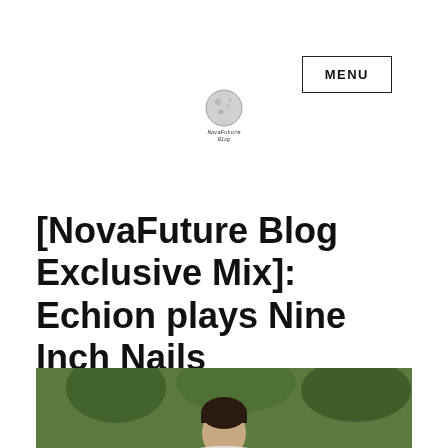MENU
[Figure (logo): NovaFuture Blog logo — a small globe/moon illustration with handwritten text 'NovaFuture Blog']
[NovaFuture Blog Exclusive Mix]: Echion plays Nine Inch Nails
[Figure (photo): Photograph of a person from shoulders up, with short dark hair, photographed outdoors with green trees in background]